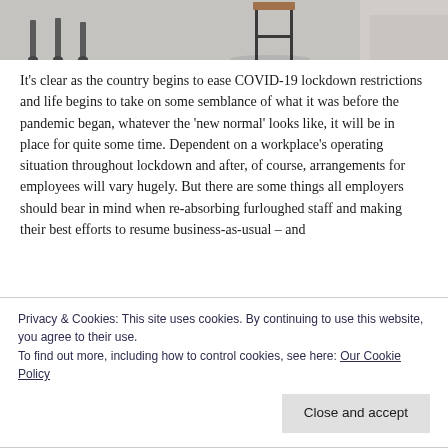[Figure (photo): Partial view of an office or living space with chairs and a side table on a light grey carpet or floor, cropped to show only the bottom portion of the scene.]
It's clear as the country begins to ease COVID-19 lockdown restrictions and life begins to take on some semblance of what it was before the pandemic began, whatever the 'new normal' looks like, it will be in place for quite some time. Dependent on a workplace's operating situation throughout lockdown and after, of course, arrangements for employees will vary hugely. But there are some things all employers should bear in mind when re-absorbing furloughed staff and making their best efforts to resume business-as-usual – and
Privacy & Cookies: This site uses cookies. By continuing to use this website, you agree to their use.
To find out more, including how to control cookies, see here: Our Cookie Policy
Close and accept